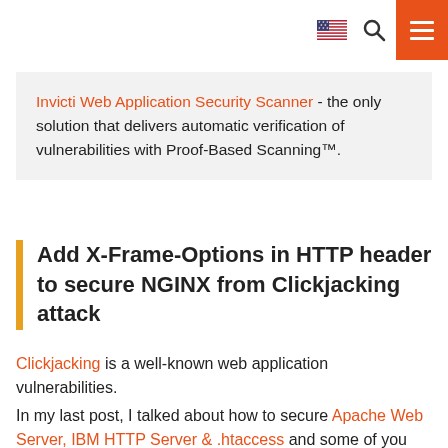[navigation icons: US flag, search, menu]
Invicti Web Application Security Scanner - the only solution that delivers automatic verification of vulnerabilities with Proof-Based Scanning™.
Add X-Frame-Options in HTTP header to secure NGINX from Clickjacking attack
Clickjacking is a well-known web application vulnerabilities.
In my last post, I talked about how to secure Apache Web Server, IBM HTTP Server & .htaccess and some of you asked about Nginx.